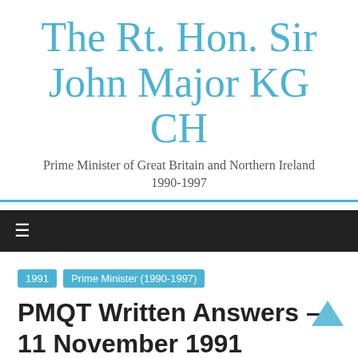The Rt. Hon. Sir John Major KG CH
Prime Minister of Great Britain and Northern Ireland 1990-1997
≡
1991   Prime Minister (1990-1997)
PMQT Written Answers – 11 November 1991
November 11, 1991   admin   1991, Child Benefit, Single Parents